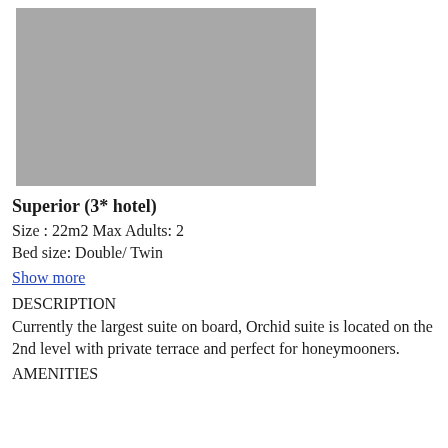[Figure (photo): Gray placeholder image of a hotel room or suite]
Superior (3* hotel)
Size : 22m2 Max Adults: 2
Bed size: Double/ Twin
Show more
DESCRIPTION
Currently the largest suite on board, Orchid suite is located on the 2nd level with private terrace and perfect for honeymooners.
AMENITIES